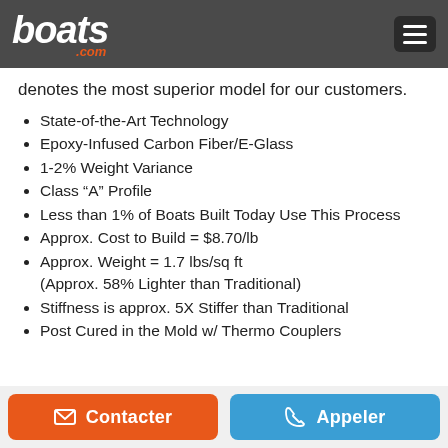boats.com
denotes the most superior model for our customers.
State-of-the-Art Technology
Epoxy-Infused Carbon Fiber/E-Glass
1-2% Weight Variance
Class “A” Profile
Less than 1% of Boats Built Today Use This Process
Approx. Cost to Build = $8.70/lb
Approx. Weight = 1.7 lbs/sq ft (Approx. 58% Lighter than Traditional)
Stiffness is approx. 5X Stiffer than Traditional
Post Cured in the Mold w/ Thermo Couplers
Widely Used in the Aerospace Industry
Montre Plus…
Contacter | Appeler